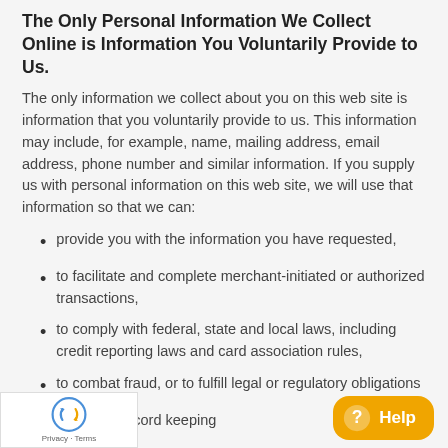The Only Personal Information We Collect Online is Information You Voluntarily Provide to Us.
The only information we collect about you on this web site is information that you voluntarily provide to us. This information may include, for example, name, mailing address, email address, phone number and similar information. If you supply us with personal information on this web site, we will use that information so that we can:
provide you with the information you have requested,
to facilitate and complete merchant-initiated or authorized transactions,
to comply with federal, state and local laws, including credit reporting laws and card association rules,
to combat fraud, or to fulfill legal or regulatory obligations
Internal record keeping